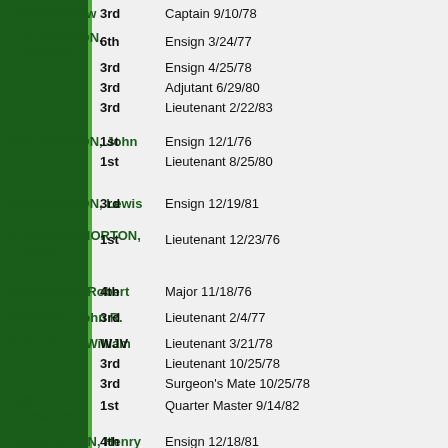| No. | Name | Regiment | Rank/Date |
| --- | --- | --- | --- |
|  | Bartholomew | 3rd | Captain 9/10/78 |
| 211. | THOMPSON, Cornelius | 6th | Ensign 3/24/77 |
|  |  | 3rd | Ensign 4/25/78 |
|  |  | 3rd | Adjutant 6/29/80 |
|  |  | 3rd | Lieutenant 2/22/83 |
| 212. | THOMPSON, John | 1st | Ensign 12/1/76 |
|  |  | 1st | Lieutenant 8/25/80 |
| 213. | THOMPSON, Lewis | 3rd | Ensign 12/19/81 |
| 214. | THROCKMORTON, John | 1st | Lieutenant 12/23/76 |
| 215. | TIMPANY, Robert | 4th | Major 11/18/76 |
| 216. | TROUP, John R. | 3rd | Lieutenant 2/4/77 |
| 217. | TURNER, William | WJV | Lieutenant 3/21/78 |
|  |  | 3rd | Lieutenant 10/25/78 |
|  |  | 3rd | Surgeon's Mate 10/25/78 |
| 218. | VALLEAU, Theodore | 1st | Quarter Master 9/14/82 |
| 219. | VAN ALLEN, Henry | 4th | Ensign 12/18/81 |